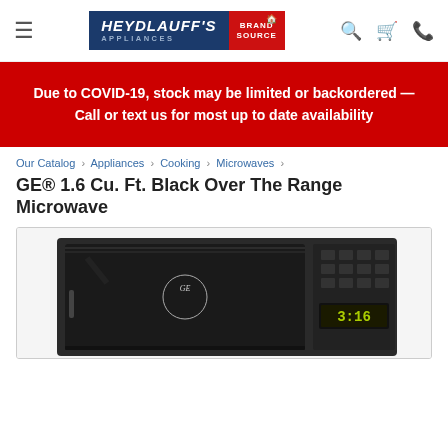Heydlauff's Appliances Brand Source — navigation header with hamburger menu, logo, search, cart, and phone icons
Due to COVID-19, stock may be limited or backordered — Call or text us for most up to date availability
Our Catalog › Appliances › Cooking › Microwaves ›
GE® 1.6 Cu. Ft. Black Over The Range Microwave
[Figure (photo): Photo of a black GE over-the-range microwave with GE logo visible on the front and a digital display showing 3:16]